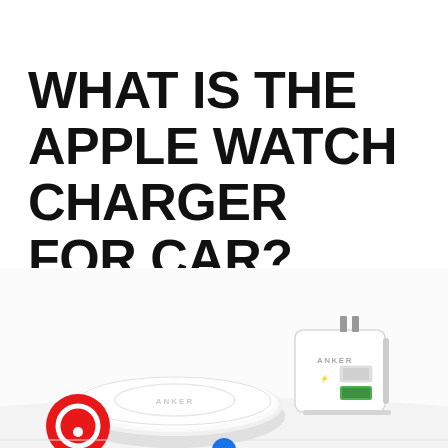WHAT IS THE APPLE WATCH CHARGER FOR CAR?
[Figure (photo): Product photo showing two Anker brand chargers on a white surface: a round flat wireless charging pad on the left with a red logo circle overlay, and a white wall plug USB charger on the right with a USB-A port and green stripe.]